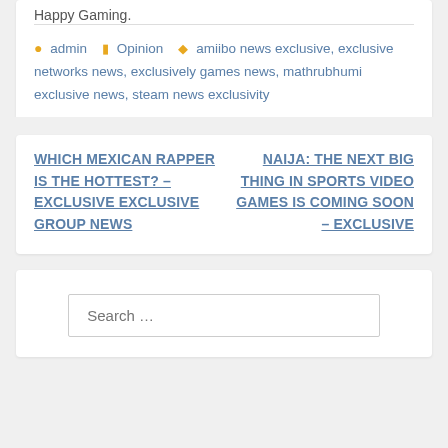Happy Gaming.
admin  Opinion  amiibo news exclusive, exclusive networks news, exclusively games news, mathrubhumi exclusive news, steam news exclusivity
WHICH MEXICAN RAPPER IS THE HOTTEST? – EXCLUSIVE EXCLUSIVE GROUP NEWS
NAIJA: THE NEXT BIG THING IN SPORTS VIDEO GAMES IS COMING SOON – EXCLUSIVE
Search …